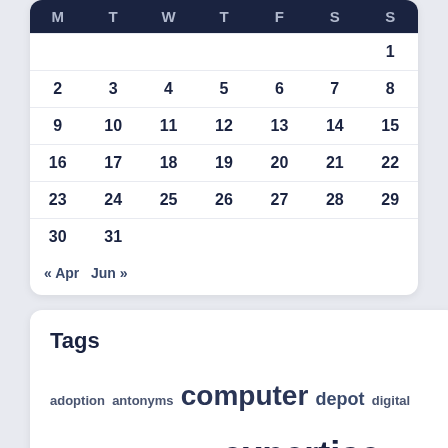| M | T | W | T | F | S | S |
| --- | --- | --- | --- | --- | --- | --- |
|  |  |  |  |  |  | 1 |
| 2 | 3 | 4 | 5 | 6 | 7 | 8 |
| 9 | 10 | 11 | 12 | 13 | 14 | 15 |
| 16 | 17 | 18 | 19 | 20 | 21 | 22 |
| 23 | 24 | 25 | 26 | 27 | 28 | 29 |
| 30 | 31 |  |  |  |  |  |
« Apr   Jun »
Tags
adoption antonyms computer depot digital download engineering expertise googles information institute international inventory investing knowhow laptop malware